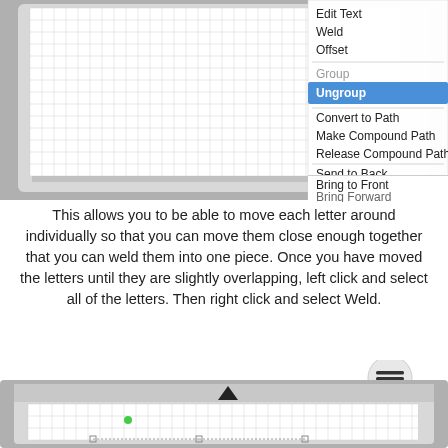[Figure (screenshot): Screenshot of a software context menu showing options: Edit Text, Weld, Offset, Group (grayed out), Ungroup (highlighted in blue), Convert to Path, Make Compound Path, Release Compound Path, Send to Back, Send Backward, Bring to Front, Bring Forward (partially visible). The menu overlays a grid-based canvas interface.]
This allows you to be able to move each letter around individually so that you can move them close enough together that you can weld them into one piece. Once you have moved the letters until they are slightly overlapping, left click and select all of the letters. Then right click and select Weld.
[Figure (screenshot): Screenshot of a software canvas interface showing a grid with a small green dot and some selection handles at the bottom, plus an up-arrow icon at the top and a hamburger menu button in the upper right.]